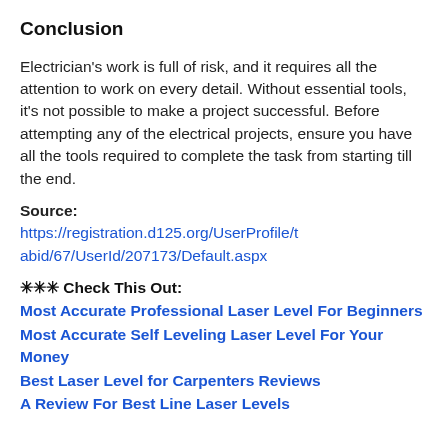Conclusion
Electrician's work is full of risk, and it requires all the attention to work on every detail. Without essential tools, it's not possible to make a project successful. Before attempting any of the electrical projects, ensure you have all the tools required to complete the task from starting till the end.
Source:
https://registration.d125.org/UserProfile/tabid/67/UserId/207173/Default.aspx
✳✳✳ Check This Out:
Most Accurate Professional Laser Level For Beginners
Most Accurate Self Leveling Laser Level For Your Money
Best Laser Level for Carpenters Reviews
A Review For Best Line Laser Levels